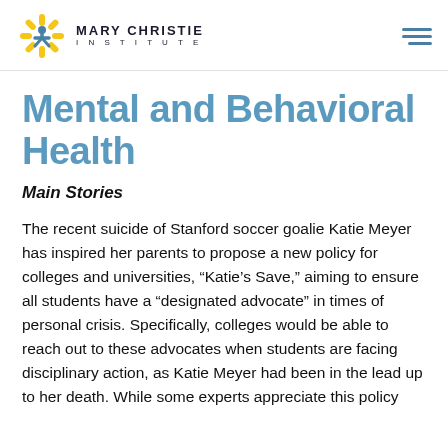MARY CHRISTIE INSTITUTE
Mental and Behavioral Health
Main Stories
The recent suicide of Stanford soccer goalie Katie Meyer has inspired her parents to propose a new policy for colleges and universities, “Katie’s Save,” aiming to ensure all students have a “designated advocate” in times of personal crisis. Specifically, colleges would be able to reach out to these advocates when students are facing disciplinary action, as Katie Meyer had been in the lead up to her death. While some experts appreciate this policy